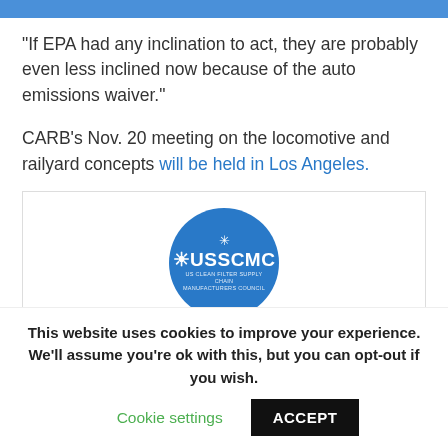“If EPA had any inclination to act, they are probably even less inclined now because of the auto emissions waiver.”
CARB’s Nov. 20 meeting on the locomotive and railyard concepts will be held in Los Angeles.
[Figure (logo): USSCMC circular blue logo with sun/gear icon and text USSCMC with subtitle text below]
This website uses cookies to improve your experience. We’ll assume you’re ok with this, but you can opt-out if you wish. Cookie settings ACCEPT